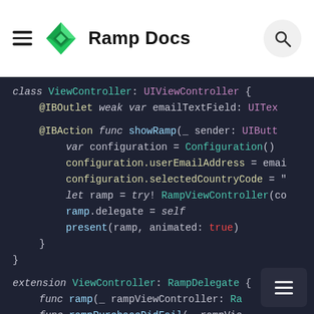Ramp Docs
[Figure (screenshot): Swift source code showing a ViewController class conforming to UIViewController with @IBOutlet and @IBAction for showRamp, configuring a Ramp SDK with Configuration(), userEmailAddress, selectedCountryCode, and presenting a RampViewController. Also shows an extension ViewController: RampDelegate with func ramp, func rampPurchaseDidFail, and func rampDidClose stubs.]